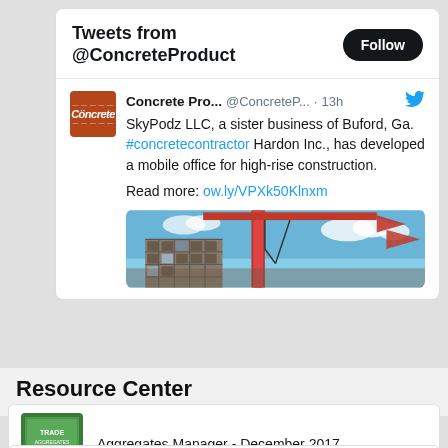Tweets from @ConcreteProduct
Concrete Pro... @ConcreteP... · 13h
SkyPodz LLC, a sister business of Buford, Ga. #concretecontractor Hardon Inc., has developed a mobile office for high-rise construction.

Read more: ow.ly/VPXk50KlnxM
[Figure (photo): Construction crane and high-rise building against blue sky with red flags]
Resource Center
Aggregates Manager - December 2017